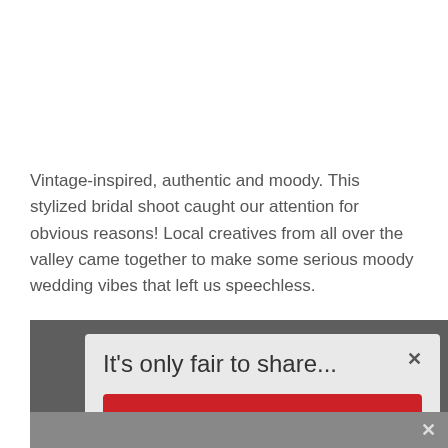Vintage-inspired, authentic and moody. This stylized bridal shoot caught our attention for obvious reasons! Local creatives from all over the valley came together to make some serious moody wedding vibes that left us speechless.
[Figure (screenshot): A social share modal dialog overlaying a blurred background photo. The modal has a title 'It's only fair to share...' with a close X button, and three social share buttons: Pinterest (red), Facebook (dark blue), Twitter (light blue). The Twitter button shows 'Share This' with a dropdown arrow. The bottom shows a grey bar with an X button.]